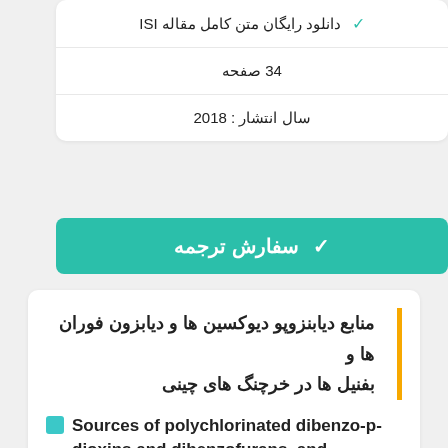✓ دانلود رایگان متن کامل مقاله ISI
34 صفحه
سال انتشار : 2018
✓ سفارش ترجمه
منابع دیابنزوپو دیوکسین ها و دیابزون فوران ها و بفنیل ها در خرچنگ های چینی
Sources of polychlorinated dibenzo-p-dioxins and dibenzofurans, and biphenyls in Chinese mitten crabs